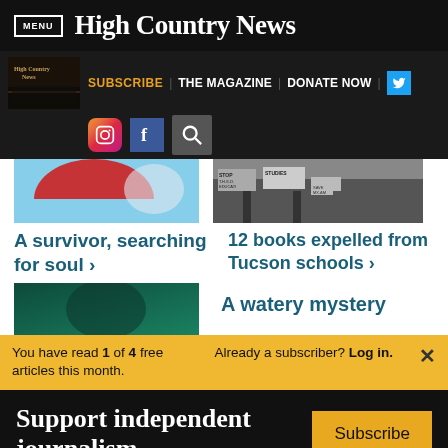MENU | High Country News
[Figure (screenshot): Navigation bar with High Country News logo image, SUBSCRIBE, THE MAGAZINE, DONATE NOW links, Twitter button, Instagram icon, Facebook icon, and search icon]
[Figure (photo): Left article image showing red fabric against blue sky]
[Figure (photo): Right article image showing protest signs about ethnic studies education]
A survivor, searching for soul ›
12 books expelled from Tucson schools ›
[Figure (photo): Dark teal gradient image for bottom-left article]
A watery mystery
You have read 1 of 4 free articles this month.
Already a subscriber? Log in.
Support independent journalism.
Subscribe